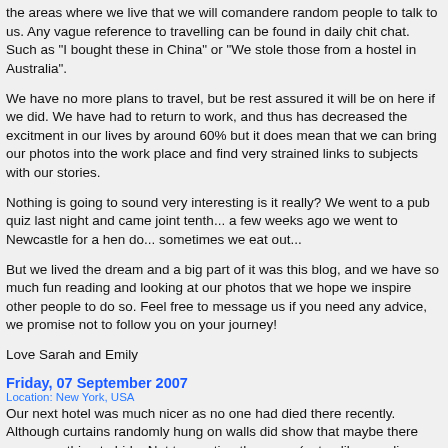the areas where we live that we will comandere random people to talk to us. Any vague reference to travelling can be found in daily chit chat. Such as "I bought these in China" or "We stole those from a hostel in Australia".
We have no more plans to travel, but be rest assured it will be on here if we did. We have had to return to work, and thus has decreased the excitment in our lives by around 60% but it does mean that we can bring our photos into the work place and find very strained links to subjects with our stories.
Nothing is going to sound very interesting is it really? We went to a pub quiz last night and came joint tenth... a few weeks ago we went to Newcastle for a hen do... sometimes we eat out...
But we lived the dream and a big part of it was this blog, and we have so much fun reading and looking at our photos that we hope we inspire other people to do so. Feel free to message us if you need any advice, we promise not to follow you on your journey!
Love Sarah and Emily
Friday, 07 September 2007
Location: New York, USA
Our next hotel was much nicer as no one had died there recently. Although curtains randomly hung on walls did show that maybe there was something to hide. Not to mention the maze (not unlike puzzling world in Lake Wanaka) of corridors that we took to find a lift.
So Simon had left us and we were in New York. Only one thing left for us to do. After a whole year of wearing the same (smelly) clothes we were going to shop! Shop and spend the scraps of money - or our emergency travellers cheques - on new things, nice, clean, unworn clothes and eat good food. Not the cheapest thing or the items on the menu we recognised, but food